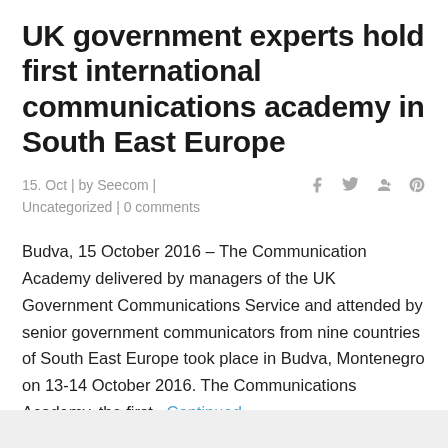UK government experts hold first international communications academy in South East Europe
15. Oct | by Seecom | Uncategorized | 0 comments
Budva, 15 October 2016 – The Communication Academy delivered by managers of the UK Government Communications Service and attended by senior government communicators from nine countries of South East Europe took place in Budva, Montenegro on 13-14 October 2016. The Communications Academy, the first...Continued